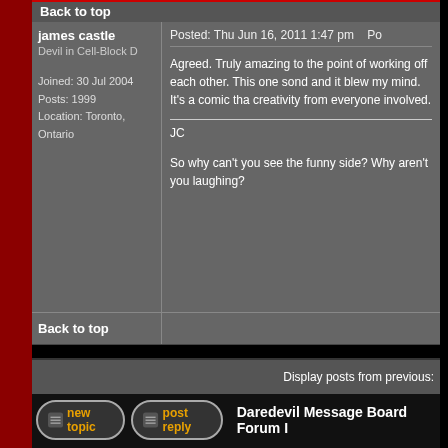Back to top
james castle
Devil in Cell-Block D
Joined: 30 Jul 2004
Posts: 1999
Location: Toronto, Ontario
Posted: Thu Jun 16, 2011 1:47 pm
Agreed. Truly amazing to the point of working off each other. This one sounded and it blew my mind. It's a comic that creativity from everyone involved.

JC

So why can't you see the funny side? Why aren't you laughing?
Back to top
Display posts from previous:
Daredevil Message Board Forum I
Page 1 of 1